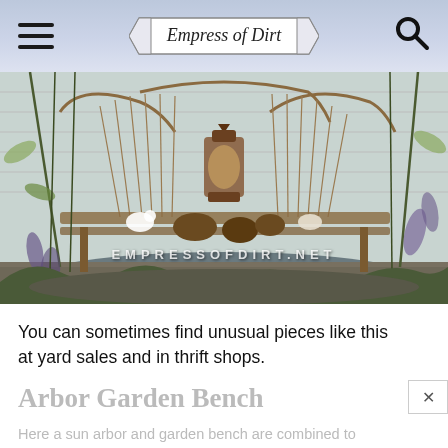Empress of Dirt
[Figure (photo): Vintage wire fan-back garden bench decorated with a lantern, pine cones, white ceramic birds, and shells, placed outdoors against white siding. Watermark reads EMPRESSOFDIRT.NET]
You can sometimes find unusual pieces like this at yard sales and in thrift shops.
Arbor Garden Bench
Here a sun arbor and garden bench are combined to create